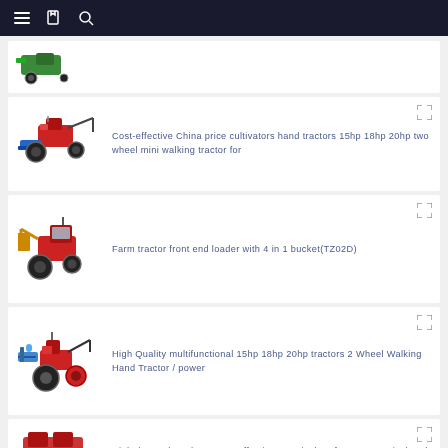Navigation bar with menu, bookmark, and search icons
[Figure (photo): Partial view of a green agricultural machine/tractor at the top of the page]
Cost-effective China price cultivators hand tractors 15hp 18hp 20hp two wheel mini walking tractor for
[Figure (photo): Red and blue two-wheel walking tractor with plow attachment]
Farm tractor front end loader with 4 in 1 bucket(TZ02D)
[Figure (photo): Red farm tractor with front end loader and 4-in-1 bucket attachment]
High Quality multifunctional 15hp 18hp 20hp tractors 2 Wheel Walking Hand Tractor / power
[Figure (photo): Red two-wheel walking hand tractor with seeder attachment]
High demand products Cost effective Practical performance agricultural machinery 2 Rows seeder